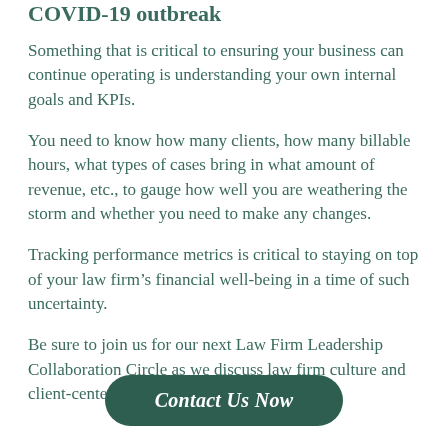COVID-19 outbreak
Something that is critical to ensuring your business can continue operating is understanding your own internal goals and KPIs.
You need to know how many clients, how many billable hours, what types of cases bring in what amount of revenue, etc., to gauge how well you are weathering the storm and whether you need to make any changes.
Tracking performance metrics is critical to staying on top of your law firm’s financial well-being in a time of such uncertainty.
Be sure to join us for our next Law Firm Leadership Collaboration Circle as we discuss law firm culture and client-centered service during COVID-19.
Contact Us Now